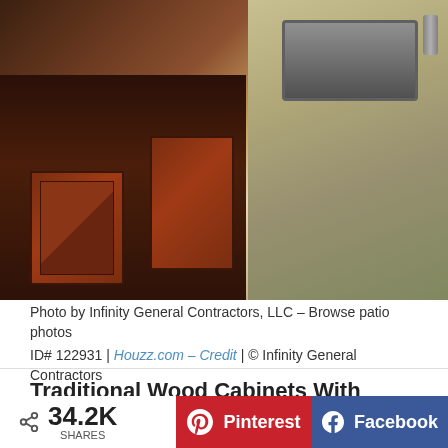[Figure (photo): Photo of outdoor patio kitchen showing traditional wood cabinet doors with X-pattern in reddish-brown wood, stone/concrete countertop with stainless steel sink, and dark stone floor.]
Photo by Infinity General Contractors, LLC – Browse patio photos ID# 122931 | Houzz.com – Credit | © Infinity General Contractors
Traditional Wood Cabinets With Brick Backsplash
Mid-sized traditional patio kitchen idea with a wood